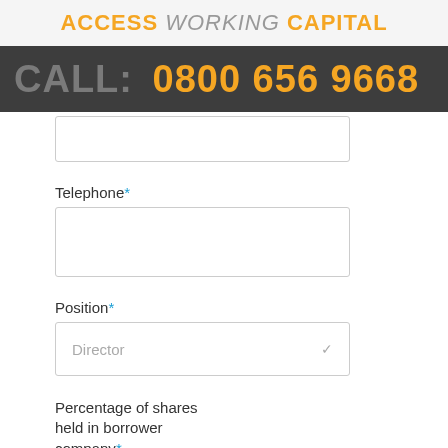ACCESS WORKING CAPITAL
CALL: 0800 656 9668
Telephone *
Position *
Director
Percentage of shares held in borrower company *